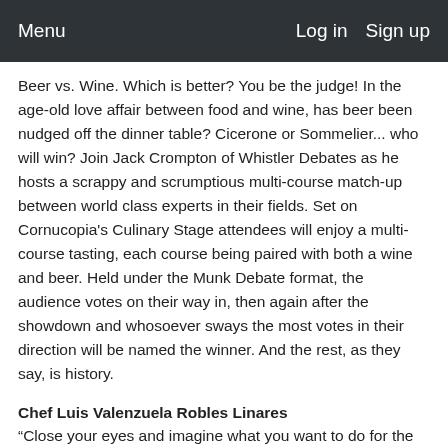Menu   Log in   Sign up
Beer vs. Wine. Which is better? You be the judge! In the age-old love affair between food and wine, has beer been nudged off the dinner table? Cicerone or Sommelier... who will win? Join Jack Crompton of Whistler Debates as he hosts a scrappy and scrumptious multi-course match-up between world class experts in their fields. Set on Cornucopia's Culinary Stage attendees will enjoy a multi-course tasting, each course being paired with both a wine and beer. Held under the Munk Debate format, the audience votes on their way in, then again after the showdown and whosoever sways the most votes in their direction will be named the winner. And the rest, as they say, is history.
Chef Luis Valenzuela Robles Linares
“Close your eyes and imagine what you want to do for the rest of your life,” once said a wise man to a then 14-year-